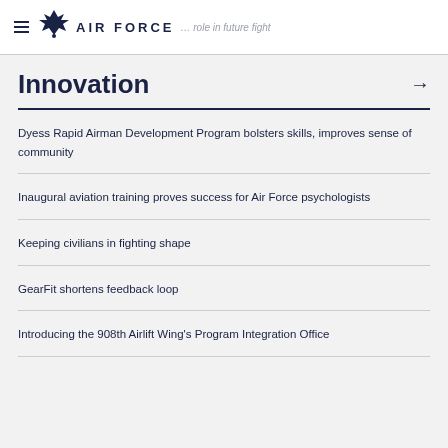AIR FORCE … role in future fight
Innovation
Dyess Rapid Airman Development Program bolsters skills, improves sense of community
Inaugural aviation training proves success for Air Force psychologists
Keeping civilians in fighting shape
GearFit shortens feedback loop
Introducing the 908th Airlift Wing's Program Integration Office